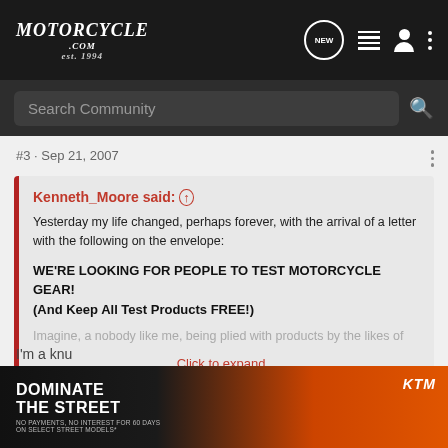Motorcycle.com est. 1994
Search Community
#3 · Sep 21, 2007
Kenneth_Moore said: ↑
Yesterday my life changed, perhaps forever, with the arrival of a letter with the following on the envelope:

WE'RE LOOKING FOR PEOPLE TO TEST MOTORCYCLE GEAR!
(And Keep All Test Products FREE!)

Imagine, a nobody like me, being plied with products by the likes of
Click to expand...
Was a letter from the Nigerian government in there too?
[Figure (screenshot): Advertisement banner: DOMINATE THE STREET - KTM motorcycle ad]
I'm a knu